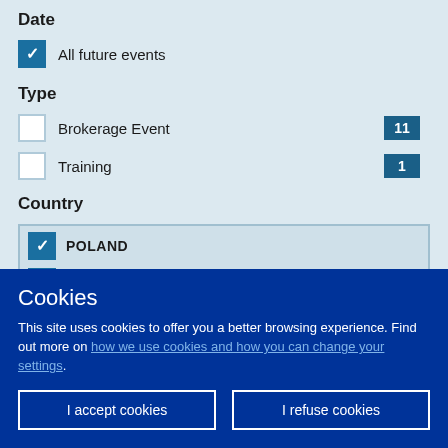Date
All future events (checked)
Type
Brokerage Event - count: 11
Training - count: 1
Country
POLAND (checked)
BELGIUM (checked)
FINLAND (partially visible, checked)
Cookies
This site uses cookies to offer you a better browsing experience. Find out more on how we use cookies and how you can change your settings.
I accept cookies | I refuse cookies